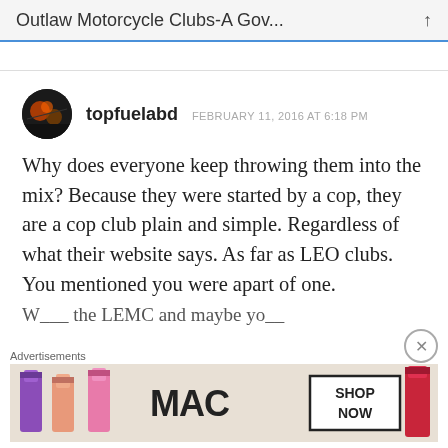Outlaw Motorcycle Clubs-A Gov...
topfuelabd   FEBRUARY 11, 2016 AT 6:18 PM
Why does everyone keep throwing them into the mix? Because they were started by a cop, they are a cop club plain and simple. Regardless of what their website says. As far as LEO clubs. You mentioned you were apart of one. W... the LEMC and maybe you...
Advertisements